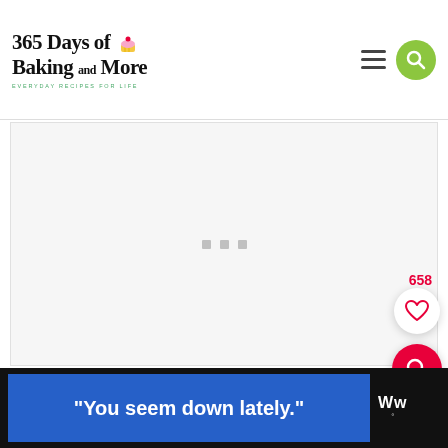365 Days of Baking and More — EVERYDAY RECIPES FOR LIFE
[Figure (screenshot): Main content area placeholder with three loading dots]
658
[Figure (illustration): Heart/favorite floating action button]
[Figure (illustration): Search floating action button (red circle)]
[Figure (screenshot): Ad banner at bottom: blue rectangle with text 'You seem down lately.' and a logo on black background]